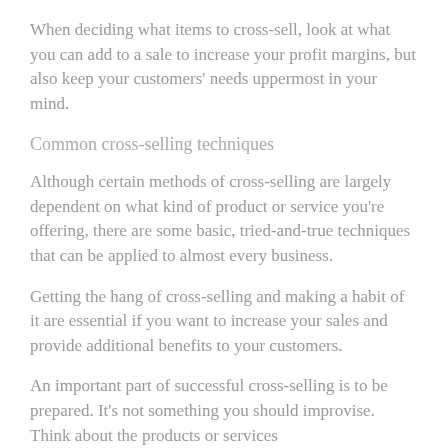When deciding what items to cross-sell, look at what you can add to a sale to increase your profit margins, but also keep your customers' needs uppermost in your mind.
Common cross-selling techniques
Although certain methods of cross-selling are largely dependent on what kind of product or service you're offering, there are some basic, tried-and-true techniques that can be applied to almost every business.
Getting the hang of cross-selling and making a habit of it are essential if you want to increase your sales and provide additional benefits to your customers.
An important part of successful cross-selling is to be prepared. It's not something you should improvise. Think about the products or services